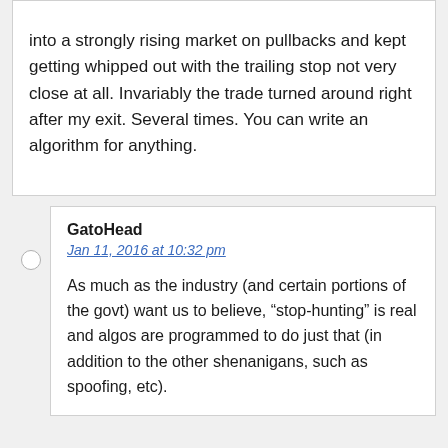into a strongly rising market on pullbacks and kept getting whipped out with the trailing stop not very close at all. Invariably the trade turned around right after my exit. Several times. You can write an algorithm for anything.
GatoHead
Jan 11, 2016 at 10:32 pm
As much as the industry (and certain portions of the govt) want us to believe, “stop-hunting” is real and algos are programmed to do just that (in addition to the other shenanigans, such as spoofing, etc).